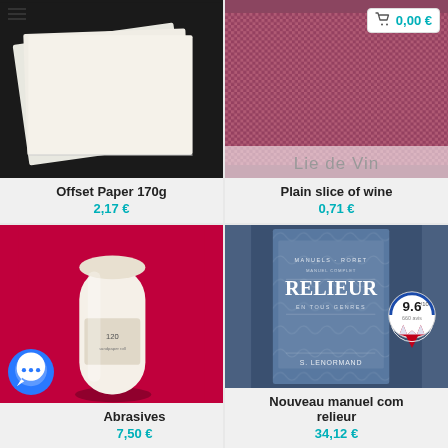[Figure (photo): White/cream offset paper sheets stacked, on dark background. Product card with name 'Offset Paper 170g' and price '2,17 €'.]
Offset Paper 170g
2,17 €
[Figure (photo): Pink/wine-colored textile fabric close-up. Cart badge showing '0,00 €'. Label 'Lie de Vin'. Product card with name 'Plain slice of wine' and price '0,71 €'.]
Plain slice of wine
0,71 €
[Figure (photo): A roll of white abrasive/sandpaper labeled '120' on a red/pink background. Chat bubble icon bottom-left. Product card with name 'Abrasives' and price '7,50 €'.]
Abrasives
7,50 €
[Figure (photo): Blue book cover 'MANUELS - RORET RELIEUR EN TOUS GENRES S. LENORMAND'. Rating badge '9.6/10 660 avis'. Product card with name 'Nouveau manuel complet du relieur' and price '34,12 €'.]
Nouveau manuel complet du relieur
34,12 €